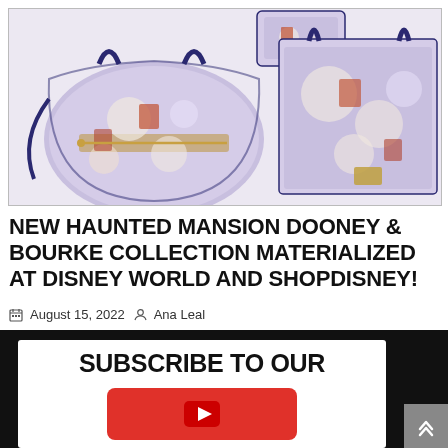[Figure (photo): Product photo showing Haunted Mansion Dooney & Bourke bag collection including a dome satchel/crossbody bag on the left and a large tote on the right, plus a small wristlet at top center, all featuring a floral purple print with Haunted Mansion-themed characters]
NEW HAUNTED MANSION DOONEY & BOURKE COLLECTION MATERIALIZED AT DISNEY WORLD AND SHOPDISNEY!
August 15, 2022  Ana Leal
[Figure (screenshot): White box on dark background with text 'SUBSCRIBE TO OUR' in bold black letters and a red YouTube-style button below, partially cropped]